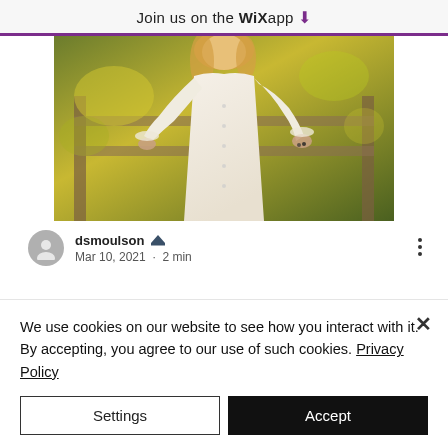Join us on the WiX app ⬇
[Figure (photo): Woman in a white flowing dress standing near a wooden fence with green/yellow foliage in the background]
dsmoulson 👑
Mar 10, 2021 · 2 min
We use cookies on our website to see how you interact with it. By accepting, you agree to our use of such cookies. Privacy Policy
Settings
Accept